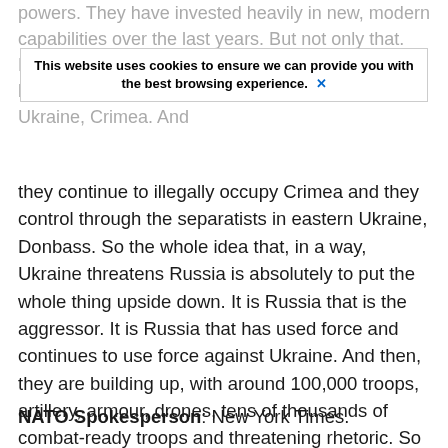powers. They have invested heavily in new, modern capabilities over the last years. But not only that. Russia has used military force against Ukraine before. In 2014, they occupied and took a part of Ukraine, Crimea. And
[Figure (screenshot): Cookie consent banner overlay reading: 'This website uses cookies to ensure we can provide you with the best browsing experience.' with a blue X close button]
they continue to illegally occupy Crimea and they control through the separatists in eastern Ukraine, Donbass. So the whole idea that, in a way, Ukraine threatens Russia is absolutely to put the whole thing upside down. It is Russia that is the aggressor. It is Russia that has used force and continues to use force against Ukraine. And then, they are building up, with around 100,000 troops, artillery, armour, drones, tens of thousands of combat-ready troops and threatening rhetoric. So of course, that's the problem. This crisis is a making of Russia. And therefore it is important that they de-escalate. Ukraine has the right to self-defence. That's enshrined in the UN founding charter, and of course, some NATO Allies, NATO Allies and NATO help them to uphold that right to self-defence.
NATO Spokesperson: New York Times.